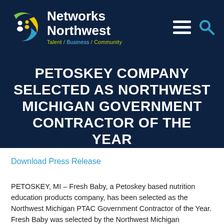[Figure (logo): Networks Northwest logo with circular icon showing figures and globe in blue, green, and yellow colors, with text 'Networks Northwest' and tagline 'Talent / Business / Community']
PETOSKEY COMPANY SELECTED AS NORTHWEST MICHIGAN GOVERNMENT CONTRACTOR OF THE YEAR
Download Press Release
PETOSKEY, MI – Fresh Baby, a Petoskey based nutrition education products company, has been selected as the Northwest Michigan PTAC Government Contractor of the Year. Fresh Baby was selected by the Northwest Michigan Procurement Technical Assistance Center (PTAC) for their